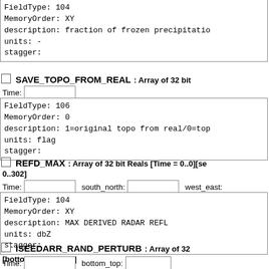FieldType: 104
MemoryOrder: XY
description: fraction of frozen precipitatio
units: -
stagger:
SAVE_TOPO_FROM_REAL: Array of 32 bit
Time:
FieldType: 106
MemoryOrder: 0
description: 1=original topo from real/0=top
units: flag
stagger:
REFD_MAX: Array of 32 bit Reals [Time = 0..0][se 0..302]
Time:  south_north:  west_east:
FieldType: 104
MemoryOrder: XY
description: MAX DERIVED RADAR REFL
units: dbZ
stagger:
ISEEDARR_RAND_PERTURB: Array of 32 [bottom_top = 0..41]
Time:  bottom_top:
FieldType: 106
MemoryOrder: Z